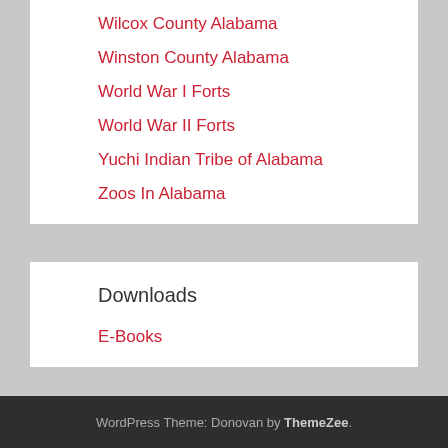Wilcox County Alabama
Winston County Alabama
World War I Forts
World War II Forts
Yuchi Indian Tribe of Alabama
Zoos In Alabama
Downloads
E-Books
WordPress Theme: Donovan by ThemeZee.